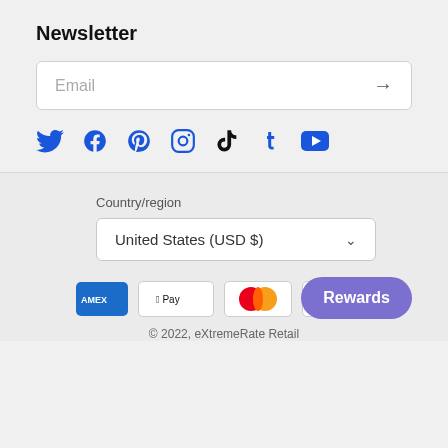Newsletter
Email
[Figure (infographic): Social media icons row: Twitter, Facebook, Pinterest, Instagram, TikTok, Tumblr, YouTube]
Country/region
United States (USD $)
[Figure (infographic): Payment method logos: American Express, Apple Pay, Mastercard, Visa. Rewards button.]
© 2022, eXtremeRate Retail